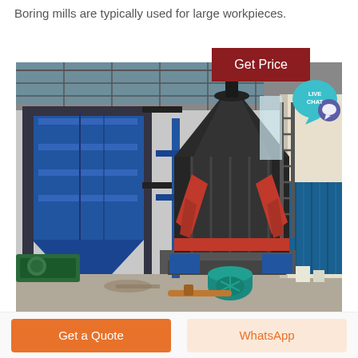Boring mills are typically used for large workpieces.
[Figure (other): Button/badge with text 'Get Price' on dark red background]
[Figure (other): Live Chat speech bubble icon in teal/blue with text 'LIVE CHAT']
[Figure (photo): Industrial grinding/boring mill machine inside a factory building. The machine is large, dark colored with red support arms, a blue dust collector on the left, and a teal electric motor at the base. The building has a steel frame roof structure.]
Get a Quote
WhatsApp